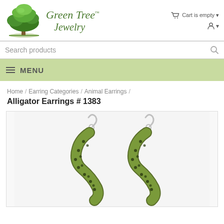[Figure (logo): Green Tree Jewelry logo with tree illustration and italic serif text]
Cart is empty
Search products
MENU
Home / Earring Categories / Animal Earrings /
Alligator Earrings # 1383
[Figure (photo): Photo of two alligator-shaped earrings in olive green and black with silver hooks, shown hanging]